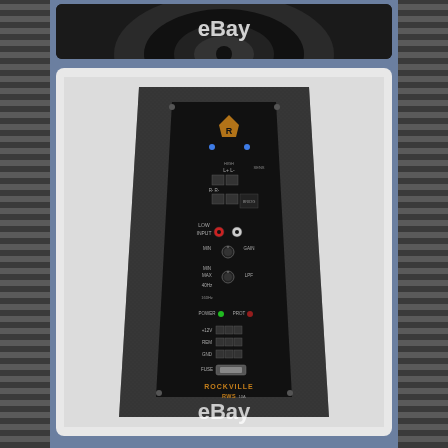[Figure (photo): Top portion: partial view of a dark speaker/subwoofer product with eBay watermark logo. Background shows a steel blue/gray color with dark striped side panels.]
[Figure (photo): Main product photo: Rockville RWS car subwoofer amplifier control panel in a wedge-shaped black carpet-covered enclosure. Panel shows Rockville logo (shield R), LEDs, RCA inputs, gain knob, LOW/HIGH input labels, power/protect LEDs, fuse holder, and various controls. eBay watermark visible at bottom center.]